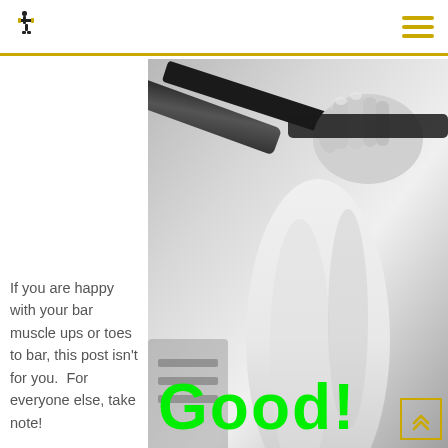Fitness website header with logo and hamburger menu
If you are happy with your bar muscle ups or toes to bar, this post isn't for you.  For everyone else, take note!
[Figure (photo): Black and white close-up photo of hands gripping a pull-up bar or barbell, with a forearm visible. Text overlay reads 'Good!' in bright green bold font.]